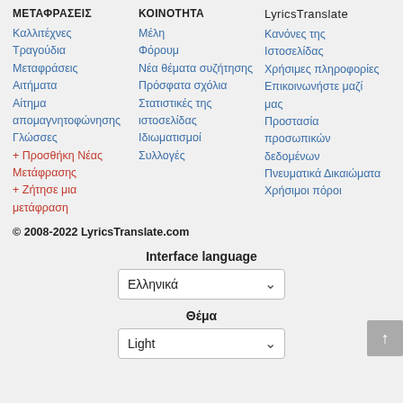ΜΕΤΑΦΡΑΣΕΙΣ
Καλλιτέχνες
Τραγούδια
Μεταφράσεις
Αιτήματα
Αίτημα απομαγνητοφώνησης
Γλώσσες
+ Προσθήκη Νέας Μετάφρασης
+ Ζήτησε μια μετάφραση
ΚΟΙΝΟΤΗΤΑ
Μέλη
Φόρουμ
Νέα θέματα συζήτησης
Πρόσφατα σχόλια
Στατιστικές της ιστοσελίδας
Ιδιωματισμοί
Συλλογές
LyricsTranslate
Κανόνες της Ιστοσελίδας
Χρήσιμες πληροφορίες
Επικοινωνήστε μαζί μας
Προστασία προσωπικών δεδομένων
Πνευματικά Δικαιώματα
Χρήσιμοι πόροι
© 2008-2022 LyricsTranslate.com
Interface language
Ελληνικά
Θέμα
Light